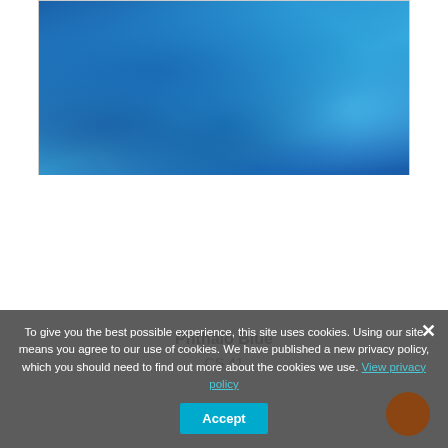[Figure (photo): Close-up photo of Phthalo Blue watercolor paint swatch showing blue pigment texture with lighter cyan highlights in upper area and deeper blue in lower area]
Phthalo Blue
CS.41
To give you the best possible experience, this site uses cookies. Using our site means you agree to our use of cookies. We have published a new privacy policy, which you should need to find out more about the cookies we use. View privacy policy  Accept